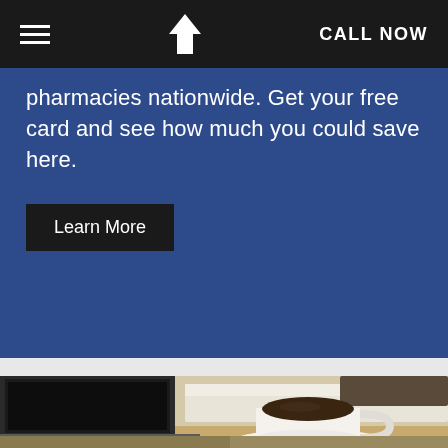CALL NOW
pharmacies nationwide. Get your free card and see how much you could save here.
Learn More
[Figure (photo): Hotel room with laptop computer and coffee cup on saucer on table, bed with white linens in background]